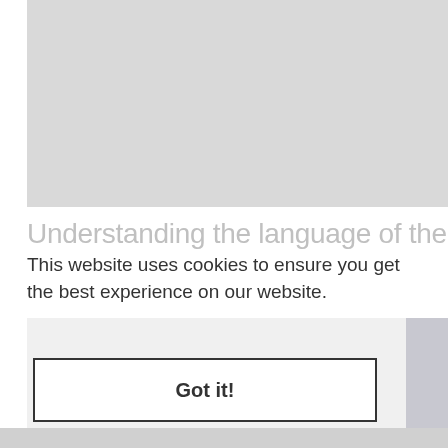[Figure (other): Gray placeholder image area at the top of the page]
Understanding the language of the dog
This website uses cookies to ensure you get the best experience on our website.
Got it!